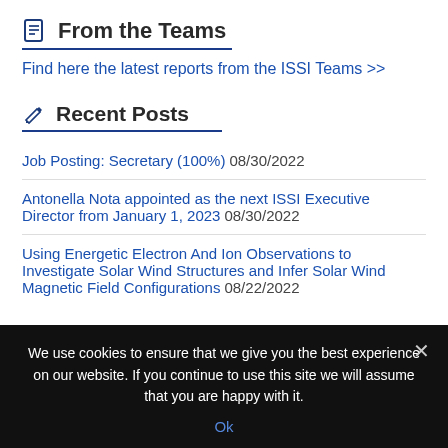From the Teams
Find here the latest reports from the ISSI Teams >>
Recent Posts
Job Posting: Secretary (100%) 08/30/2022
Antonella Nota appointed as the next ISSI Executive Director from January 1, 2023 08/30/2022
Using Energetic Electron And Ion Observations to Investigate Solar Wind Structures and Infer Solar Wind Magnetic Field Configurations 08/22/2022
We use cookies to ensure that we give you the best experience on our website. If you continue to use this site we will assume that you are happy with it.
Ok